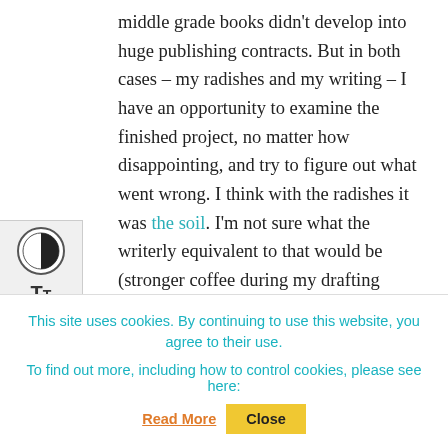middle grade books didn't develop into huge publishing contracts. But in both cases – my radishes and my writing – I have an opportunity to examine the finished project, no matter how disappointing, and try to figure out what went wrong. I think with the radishes it was the soil. I'm not sure what the writerly equivalent to that would be (stronger coffee during my drafting sessions?). But I'm going to keep exploring, keep dissecting those underdeveloped projects and trade the frustration of an unrealized goal for the
This site uses cookies. By continuing to use this website, you agree to their use. To find out more, including how to control cookies, please see here: Read More [Close]